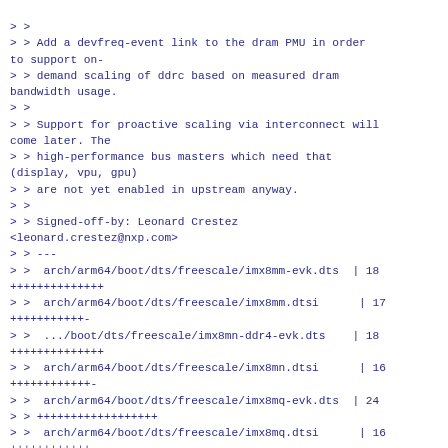> >
> > Add a devfreq-event link to the dram PMU in order to support on-
> > demand scaling of ddrc based on measured dram bandwidth usage.
> >
> > Support for proactive scaling via interconnect will come later. The
> > high-performance bus masters which need that (display, vpu, gpu)
> > are not yet enabled in upstream anyway.
> >
> > Signed-off-by: Leonard Crestez <leonard.crestez@nxp.com>
> > ---
> >  arch/arm64/boot/dts/freescale/imx8mm-evk.dts  | 18 ++++++++++++++
> >  arch/arm64/boot/dts/freescale/imx8mm.dtsi      | 17 ++++++++++++-
> >  .../boot/dts/freescale/imx8mn-ddr4-evk.dts    | 18 ++++++++++++++
> >  arch/arm64/boot/dts/freescale/imx8mn.dtsi      | 16 ++++++++++++-
> >  arch/arm64/boot/dts/freescale/imx8mq-evk.dts  | 24
> > ++++++++++++++++++
> >  arch/arm64/boot/dts/freescale/imx8mq.dtsi      | 16 ++++++++++++-
> >  6 files changed, 106 insertions(+), 3 deletions(-)
> >
> > diff --git a/arch/arm64/boot/dts/freescale/imx8mm-